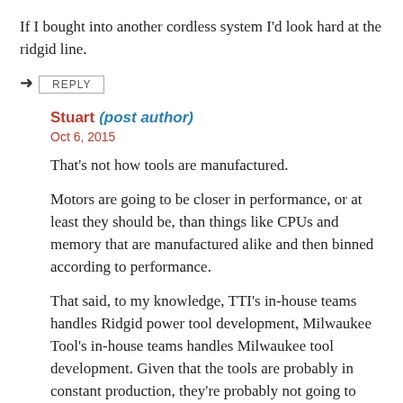If I bought into another cordless system I'd look hard at the ridgid line.
REPLY
Stuart (post author)
Oct 6, 2015
That's not how tools are manufactured.
Motors are going to be closer in performance, or at least they should be, than things like CPUs and memory that are manufactured alike and then binned according to performance.
That said, to my knowledge, TTI's in-house teams handles Ridgid power tool development, Milwaukee Tool's in-house teams handles Milwaukee tool development. Given that the tools are probably in constant production, they're probably not going to share production lines